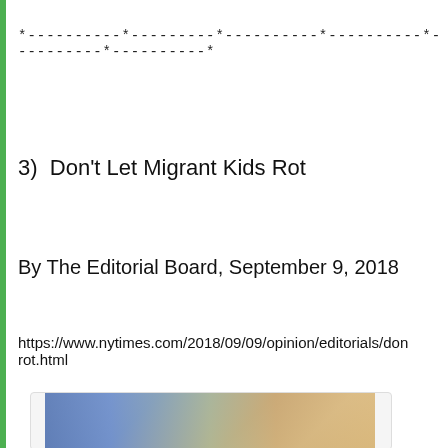*----------*---------*----------*----------*----------*----------*
3)  Don't Let Migrant Kids Rot
By The Editorial Board, September 9, 2018
https://www.nytimes.com/2018/09/09/opinion/editorials/dont-let-migrant-kids-rot.html
[Figure (photo): Photo showing migrant children, partially visible at bottom of page]